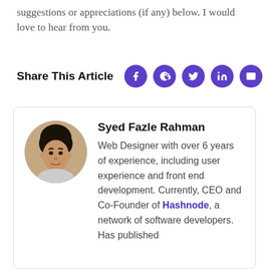suggestions or appreciations (if any) below. I would love to hear from you.
Share This Article
[Figure (other): Social share icons: Facebook, Reddit, Twitter, LinkedIn, Email — all in purple circles]
[Figure (photo): Circular avatar photo of Syed Fazle Rahman, a man with dark hair]
Syed Fazle Rahman
Web Designer with over 6 years of experience, including user experience and front end development. Currently, CEO and Co-Founder of Hashnode, a network of software developers. Has published